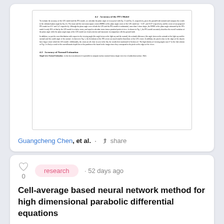[Figure (screenshot): Thumbnail preview of a scientific paper showing sections on accuracy of PPA model and accuracy of normal estimation with small dense text]
Guangcheng Chen, et al. · share
research · 52 days ago
Cell-average based neural network method for high dimensional parabolic differential equations
In this paper, we introduce cell-average based neural network method (CANN)